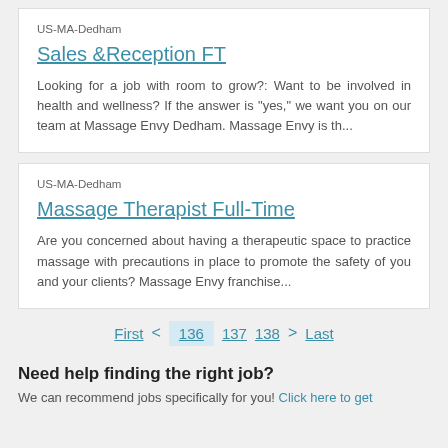US-MA-Dedham
Sales &Reception FT
Looking for a job with room to grow?:   Want to be involved in health and wellness?  If the answer is "yes," we want you on our team at Massage Envy Dedham. Massage Envy is th...
US-MA-Dedham
Massage Therapist Full-Time
Are you concerned about having a therapeutic space to practice massage with precautions in place to promote the safety of you and your clients?   Massage Envy franchise...
First < 136 137 138 > Last
Need help finding the right job?
We can recommend jobs specifically for you! Click here to get